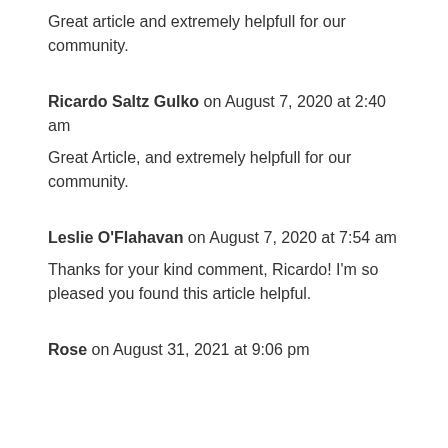Great article and extremely helpfull for our community.
Ricardo Saltz Gulko on August 7, 2020 at 2:40 am
Great Article, and extremely helpfull for our community.
Leslie O'Flahavan on August 7, 2020 at 7:54 am
Thanks for your kind comment, Ricardo! I'm so pleased you found this article helpful.
Rose on August 31, 2021 at 9:06 pm